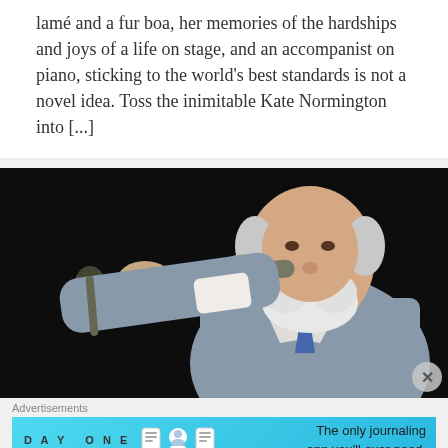lamé and a fur boa, her memories of the hardships and joys of a life on stage, and an accompanist on piano, sticking to the world's best standards is not a novel idea. Toss the inimitable Kate Normington into [...]
[Figure (photo): An elderly man in a grey suit holding a microphone stand or baton with both hands, dark background, appears to be performing on stage.]
Advertisements
[Figure (screenshot): Advertisement banner for Day One journaling app with blue background. Shows 'DAY ONE' text with icons and the tagline 'The only journaling app you'll ever need.']